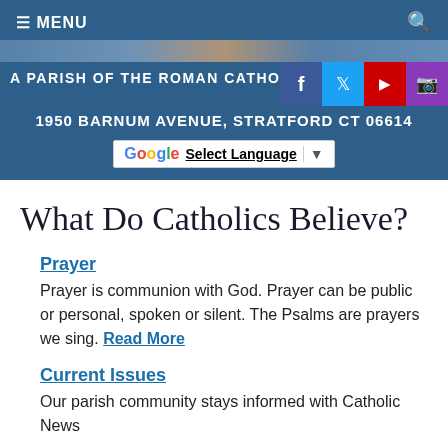≡ MENU
A PARISH OF THE ROMAN CATHOLIC DIOCESE OF BRIDGEPORT
1950 BARNUM AVENUE, STRATFORD CT 06614
Select Language
What Do Catholics Believe?
Prayer
Prayer is communion with God. Prayer can be public or personal, spoken or silent. The Psalms are prayers we sing. Read More
Current Issues
Our parish community stays informed with Catholic News